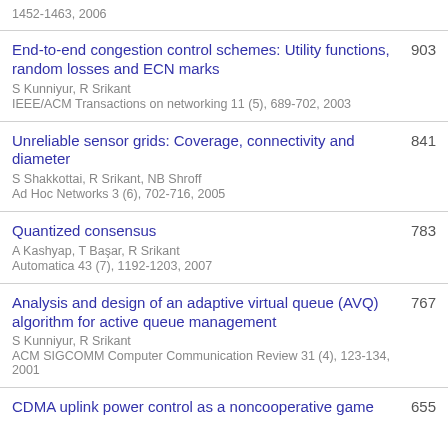1452-1463, 2006
End-to-end congestion control schemes: Utility functions, random losses and ECN marks
S Kunniyur, R Srikant
IEEE/ACM Transactions on networking 11 (5), 689-702, 2003
903
Unreliable sensor grids: Coverage, connectivity and diameter
S Shakkottai, R Srikant, NB Shroff
Ad Hoc Networks 3 (6), 702-716, 2005
841
Quantized consensus
A Kashyap, T Başar, R Srikant
Automatica 43 (7), 1192-1203, 2007
783
Analysis and design of an adaptive virtual queue (AVQ) algorithm for active queue management
S Kunniyur, R Srikant
ACM SIGCOMM Computer Communication Review 31 (4), 123-134, 2001
767
CDMA uplink power control as a noncooperative game
655